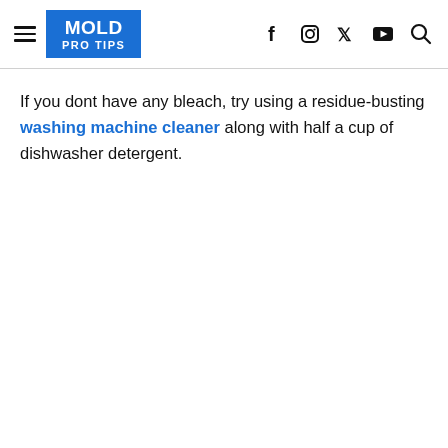MOLD PRO TIPS
If you dont have any bleach, try using a residue-busting washing machine cleaner along with half a cup of dishwasher detergent.